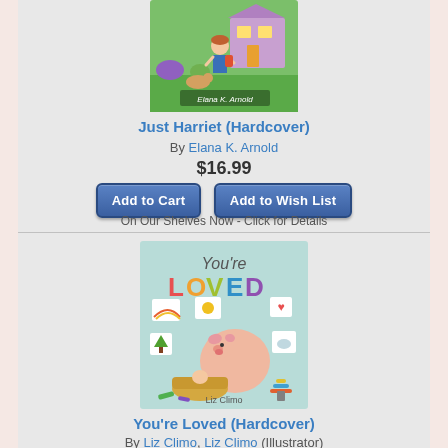[Figure (illustration): Book cover for Just Harriet (Hardcover) showing a girl with a dog in a colorful garden with a house in the background, author name Elana K. Arnold on cover]
Just Harriet (Hardcover)
By Elana K. Arnold
$16.99
Add to Cart
Add to Wish List
On Our Shelves Now - Click for Details
[Figure (illustration): Book cover for You're Loved (Hardcover) showing a pig sitting next to a baby basket, colorful letters spelling LOVED, author Liz Climo]
You're Loved (Hardcover)
By Liz Climo, Liz Climo (Illustrator)
$18.99